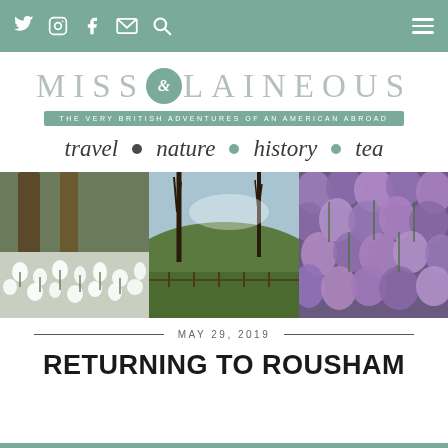MissElaineous blog header with social icons and hamburger menu
[Figure (logo): MissElaineous blog logo with stylized ampersand in teal circle, tagline 'THE VERY BRITISH ADVENTURES OF AN AMERICAN ABROAD', nav categories: travel, nature, history, tea]
[Figure (photo): Three-panel photo strip: snowdrops in woodland, countryside view through bare trees, purple crocus flowers]
MAY 29, 2019
RETURNING TO ROUSHAM